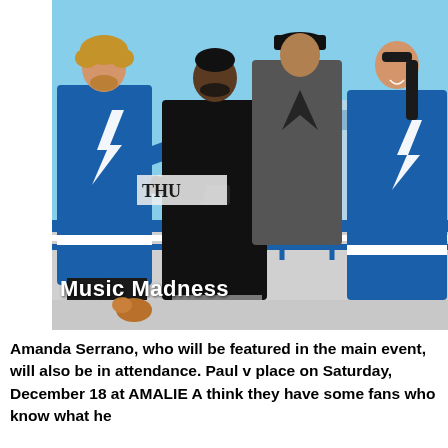[Figure (photo): Four people posing outdoors. On the left, a young man with curly blonde hair wearing a blue Tampa Bay Lightning NHL jersey making finger guns. In the center, a man in a black long-sleeve shirt and grey shorts. Behind him, a taller man in a grey shirt with a black cap. On the right, a woman with long dark braided hair wearing a blue Tampa Bay Lightning jersey. Text 'THU' visible on a building/sign in background. Watermark text 'Music Madness' visible in bottom-left corner of image.]
Amanda Serrano, who will be featured in the main event, will also be in attendance. Paul v place on Saturday, December 18 at AMALIE A think they have some fans who know what he